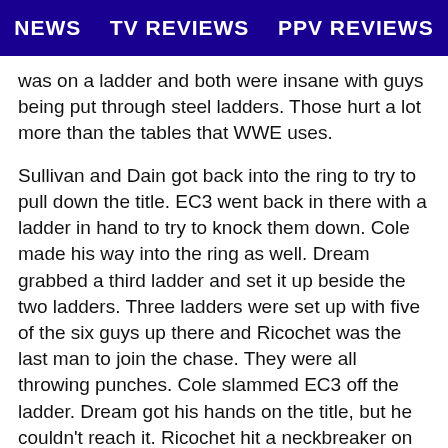NEWS   TV REVIEWS   PPV REVIEWS
was on a ladder and both were insane with guys being put through steel ladders. Those hurt a lot more than the tables that WWE uses.
Sullivan and Dain got back into the ring to try to pull down the title. EC3 went back in there with a ladder in hand to try to knock them down. Cole made his way into the ring as well. Dream grabbed a third ladder and set it up beside the two ladders. Three ladders were set up with five of the six guys up there and Ricochet was the last man to join the chase. They were all throwing punches. Cole slammed EC3 off the ladder. Dream got his hands on the title, but he couldn't reach it. Ricochet hit a neckbreaker on Dream off the top of a ladder. Another incredible spot in this match. Sullivan took down Dain with a uranage slam. Sullivan was alone in the ring